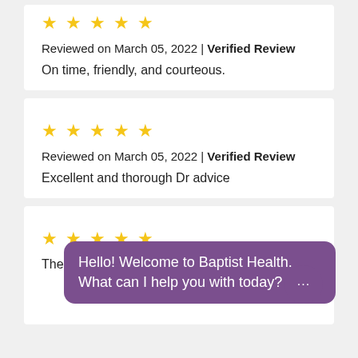[Figure (other): Five gold star rating for review 1]
Reviewed on March 05, 2022 | Verified Review
On time, friendly, and courteous.
[Figure (other): Five gold star rating for review 2]
Reviewed on March 05, 2022 | Verified Review
Excellent and thorough Dr advice
[Figure (other): Five gold star rating for review 3]
Hello! Welcome to Baptist Health. What can I help you with today?
The care given is excellent! The staff is very